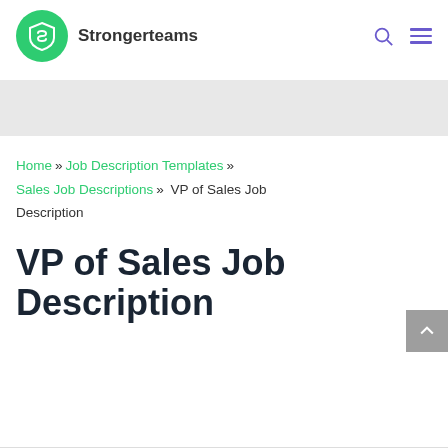Strongerteams
Home » Job Description Templates » Sales Job Descriptions » VP of Sales Job Description
VP of Sales Job Description